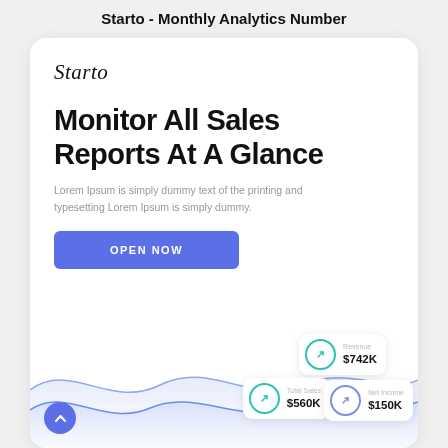Starto - Monthly Analytics Number
[Figure (screenshot): Mobile app landing card for Starto analytics app showing logo, headline, subtext, open now button, wave area chart background, and stat badges for Revenue $742K, Total Sales $560K, Net Income $150K]
Starto
Monitor All Sales Reports At A Glance
Lorem Ipsum is simply dummy text of the printing and typesetting Lorem Ipsum is simply dummy.
OPEN NOW
Revenue
$742K
Total Sales
$560K
Net Income
$150K